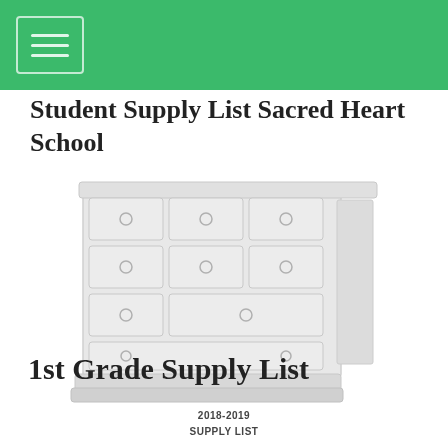Student Supply List Sacred Heart School
Student Supply List Sacred Heart School
[Figure (illustration): A white wooden dresser/chest of drawers with multiple drawers arranged in rows, each drawer with a round knob handle. The image is light/faded with a white color scheme.]
1st Grade Supply List
2018-2019
SUPPLY LIST